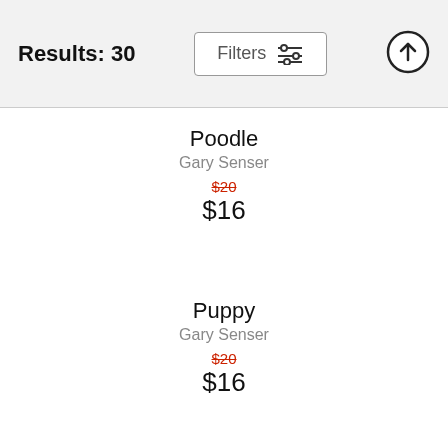Results: 30
Poodle
Gary Senser
$20
$16
Puppy
Gary Senser
$20
$16
Fire Mask
Gary Senser